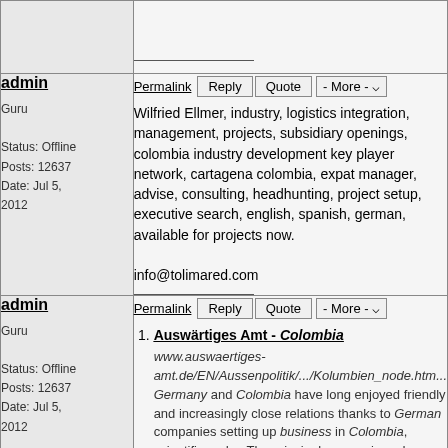admin
Guru
Status: Offline
Posts: 12637
Date: Jul 5, 2012
Wilfried Ellmer, industry, logistics integration, management, projects, subsidiary openings, colombia industry development key player network, cartagena colombia, expat manager, advise, consulting, headhunting, project setup, executive search, english, spanish, german, available for projects now.

info@tolimared.com
admin
Guru
Status: Offline
Posts: 12637
Date: Jul 5, 2012
1. Auswärtiges Amt - Colombia
www.auswaertiges-amt.de/EN/Aussenpolitik/.../Kolumbien_node.htm... Germany and Colombia have long enjoyed friendly and increasingly close relations thanks to German companies setting up business in Colombia, scientific and ... The principal economic and development cooperation agreements in place ...
2. Business development manager Colombia profiles | LinkedIn